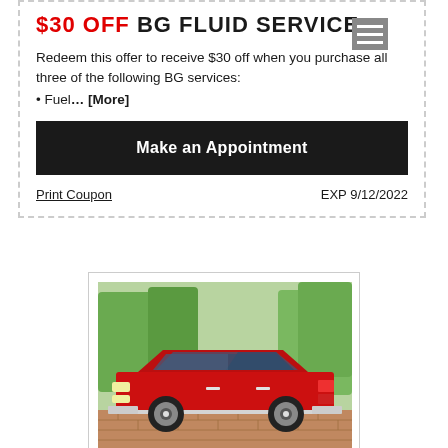$30 OFF BG FLUID SERVICE
Redeem this offer to receive $30 off when you purchase all three of the following BG services:
Fuel... [More]
Make an Appointment
Print Coupon
EXP 9/12/2022
[Figure (photo): Red classic car (Dodge Polara or similar 1970s model) parked on a brick driveway with trees and landscaping in the background.]